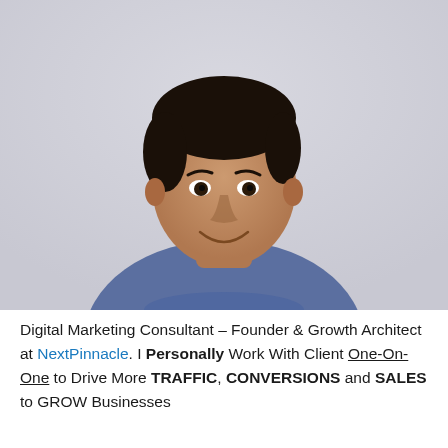[Figure (photo): A smiling man of South Asian descent wearing a blue t-shirt, photographed from the waist up against a light grey background.]
Digital Marketing Consultant – Founder & Growth Architect at NextPinnacle. I Personally Work With Client One-On-One to Drive More TRAFFIC, CONVERSIONS and SALES to GROW Businesses